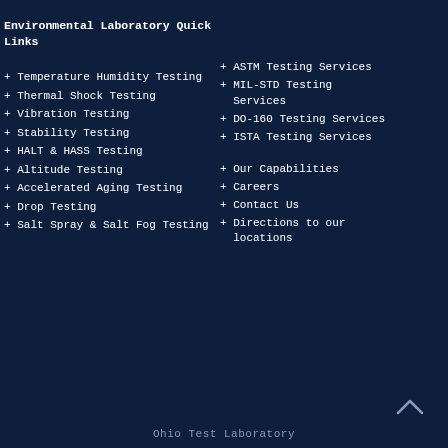Environmental Laboratory Quick Links
+ Temperature Humidity Testing
+ Thermal Shock Testing
+ Vibration Testing
+ Stability Testing
+ HALT & HASS Testing
+ Altitude Testing
+ Accelerated Aging Testing
+ Drop Testing
+ Salt Spray & Salt Fog Testing
+ ASTM Testing Services
+ MIL-STD Testing Services
+ DO-160 Testing Services
+ ISTA Testing Services
+ Our Capabilities
+ Careers
+ Contact Us
+ Directions to our locations
Ohio Test Laboratory